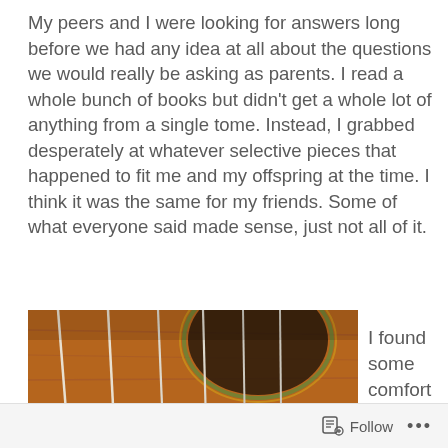My peers and I were looking for answers long before we had any idea at all about the questions we would really be asking as parents. I read a whole bunch of books but didn't get a whole lot of anything from a single tome. Instead, I grabbed desperately at whatever selective pieces that happened to fit me and my offspring at the time. I think it was the same for my friends. Some of what everyone said made sense, just not all of it.
[Figure (photo): Close-up photograph of a classical guitar bridge and strings, showing six white nylon strings tied to a brown wooden bridge with a guitar body and sound hole visible in the background.]
I found some comfort in the
Follow ...